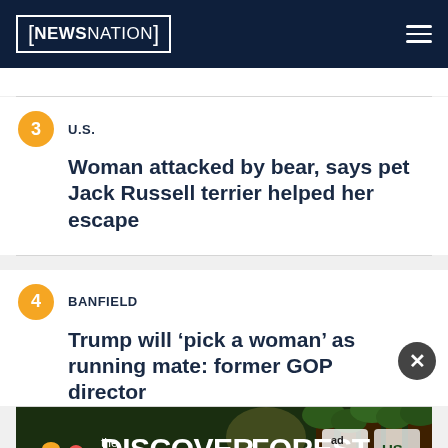NEWSNATION
3 | U.S. | Woman attacked by bear, says pet Jack Russell terrier helped her escape
4 | BANFIELD | Trump will ‘pick a woman’ as running mate: former GOP director
[Figure (screenshot): DiscovertheForest.org advertisement banner with colorful forest imagery, ad council and US Forest Service logos]
5 | Video shows massive 130-foot yacht...